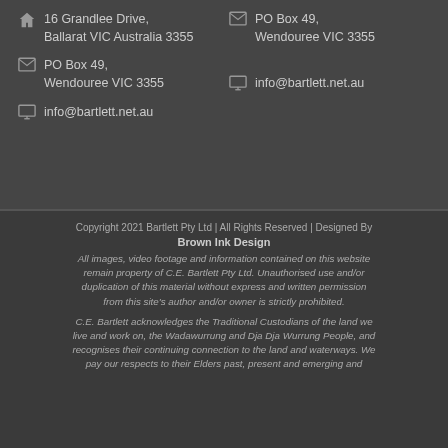16 Grandlee Drive, Ballarat VIC Australia 3355
PO Box 49, Wendouree VIC 3355
PO Box 49, Wendouree VIC 3355
info@bartlett.net.au
info@bartlett.net.au
Copyright 2021 Bartlett Pty Ltd | All Rights Reserved | Designed By Brown Ink Design
All images, video footage and information contained on this website remain property of C.E. Bartlett Pty Ltd. Unauthorised use and/or duplication of this material without express and written permission from this site's author and/or owner is strictly prohibited.
C.E. Bartlett acknowledges the Traditional Custodians of the land we live and work on, the Wadawurrung and Dja Dja Wurrung People, and recognises their continuing connection to the land and waterways. We pay our respects to their Elders past, present and emerging and